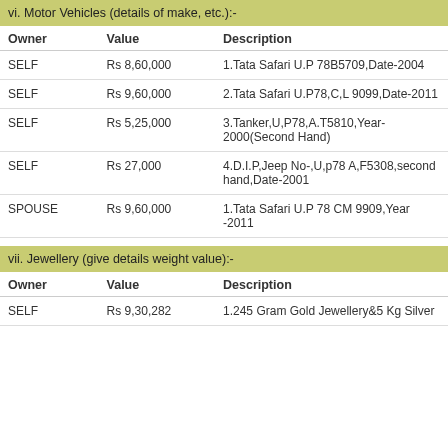vi. Motor Vehicles (details of make, etc.):-
| Owner | Value | Description |
| --- | --- | --- |
| SELF | Rs 8,60,000 | 1.Tata Safari U.P 78B5709,Date-2004 |
| SELF | Rs 9,60,000 | 2.Tata Safari U.P78,C,L 9099,Date-2011 |
| SELF | Rs 5,25,000 | 3.Tanker,U,P78,A.T5810,Year-2000(Second Hand) |
| SELF | Rs 27,000 | 4.D.I.P,Jeep No-,U,p78 A,F5308,second hand,Date-2001 |
| SPOUSE | Rs 9,60,000 | 1.Tata Safari U.P 78 CM 9909,Year -2011 |
vii. Jewellery (give details weight value):-
| Owner | Value | Description |
| --- | --- | --- |
| SELF | Rs 9,30,282 | 1.245 Gram Gold Jewellery&5 Kg Silver |